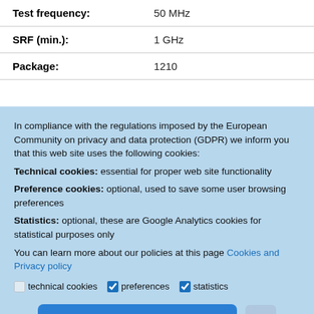| Property | Value |
| --- | --- |
| Test frequency: | 50 MHz |
| SRF (min.): | 1 GHz |
| Package: | 1210 |
In compliance with the regulations imposed by the European Community on privacy and data protection (GDPR) we inform you that this web site uses the following cookies: Technical cookies: essential for proper web site functionality Preference cookies: optional, used to save some user browsing preferences Statistics: optional, these are Google Analytics cookies for statistical purposes only You can learn more about our policies at this page Cookies and Privacy policy